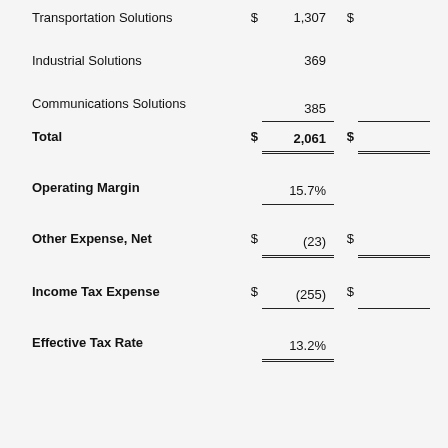|  | $ | Value | $ | Value2 |
| --- | --- | --- | --- | --- |
| Transportation Solutions | $ | 1,307 | $ |  |
| Industrial Solutions |  | 369 |  |  |
| Communications Solutions |  | 385 |  |  |
| Total | $ | 2,061 | $ |  |
| Operating Margin |  | 15.7% |  |  |
| Other Expense, Net | $ | (23) | $ |  |
| Income Tax Expense | $ | (255) | $ |  |
| Effective Tax Rate |  | 13.2% |  |  |